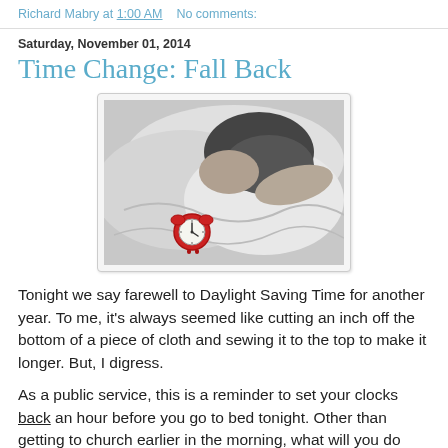Richard Mabry at 1:00 AM   No comments:
Saturday, November 01, 2014
Time Change: Fall Back
[Figure (photo): Black and white photo of a person sleeping in bed with a red alarm clock in the foreground]
Tonight we say farewell to Daylight Saving Time for another year. To me, it's always seemed like cutting an inch off the bottom of a piece of cloth and sewing it to the top to make it longer. But, I digress.
As a public service, this is a reminder to set your clocks back an hour before you go to bed tonight. Other than getting to church earlier in the morning, what will you do with that extra hour? A recent survey shows that only a few of you will sleep longer. So, what do you plan to do with your